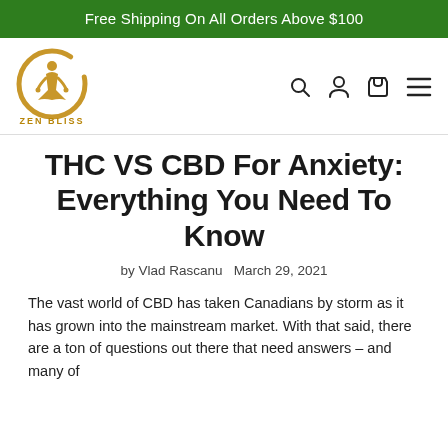Free Shipping On All Orders Above $100
[Figure (logo): Zen Bliss logo: a meditating figure inside a golden circle with the text ZEN BLISS below]
THC VS CBD For Anxiety: Everything You Need To Know
by Vlad Rascanu   March 29, 2021
The vast world of CBD has taken Canadians by storm as it has grown into the mainstream market. With that said, there are a ton of questions out there that need answers – and many of